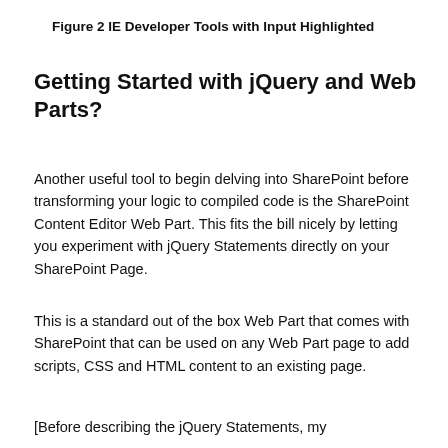Figure 2 IE Developer Tools with Input Highlighted
Getting Started with jQuery and Web Parts?
Another useful tool to begin delving into SharePoint before transforming your logic to compiled code is the SharePoint Content Editor Web Part. This fits the bill nicely by letting you experiment with jQuery Statements directly on your SharePoint Page.
This is a standard out of the box Web Part that comes with SharePoint that can be used on any Web Part page to add scripts, CSS and HTML content to an existing page.
[Before describing the jQuery Statements, my